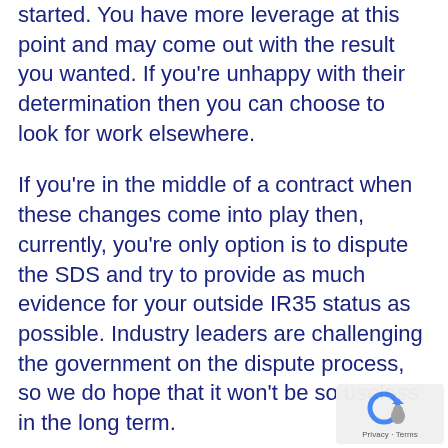started. You have more leverage at this point and may come out with the result you wanted. If you're unhappy with their determination then you can choose to look for work elsewhere.
If you're in the middle of a contract when these changes come into play then, currently, you're only option is to dispute the SDS and try to provide as much evidence for your outside IR35 status as possible. Industry leaders are challenging the government on the dispute process, so we do hope that it won't be so useless in the long term.
Another avenue open to contractors is to look for contracts with 'small companies' –